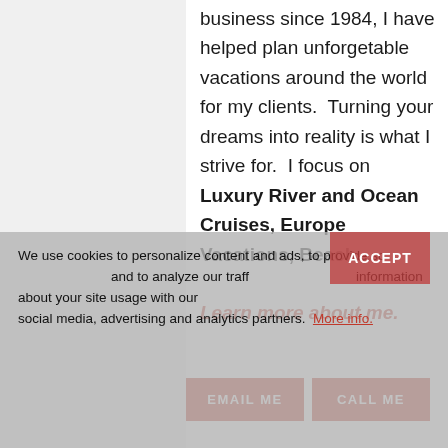business since 1984, I have helped plan unforgetable vacations around the world for my clients.  Turning your dreams into reality is what I strive for.  I focus on Luxury River and Ocean Cruises, Europe Vacations, Beach...
Learn more about me.
We use cookies to personalize content and ads, to provide social media features and to analyze our traffic. We also share information about your site usage with our social media, advertising and analytics partners. More info.
ACCEPT
EMAIL ME
CALL ME